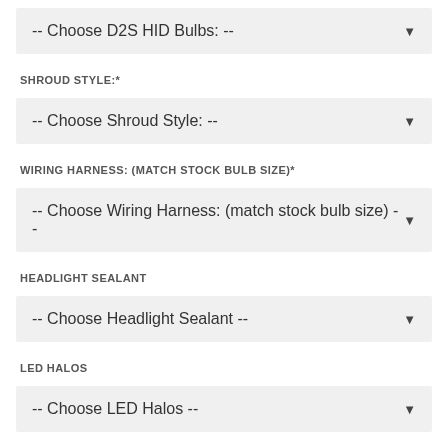-- Choose D2S HID Bulbs: --
SHROUD STYLE:*
-- Choose Shroud Style: --
WIRING HARNESS: (MATCH STOCK BULB SIZE)*
-- Choose Wiring Harness: (match stock bulb size) --
HEADLIGHT SEALANT
-- Choose Headlight Sealant --
LED HALOS
-- Choose LED Halos --
ANTI-FLICKER CAPACITOR LINK (ONLY COMPATIBLE WITH HD RELAY)